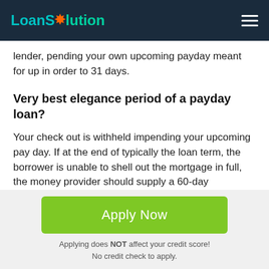LoanSolution
lender, pending your own upcoming payday meant for up in order to 31 days.
Very best elegance period of a payday loan?
Your check out is withheld impending your upcoming pay day. If at the end of typically the loan term, the borrower is unable to shell out the mortgage in full, the money provider should supply a 60-day sophistication period without further charge.
Apply Now
Applying does NOT affect your credit score!
No credit check to apply.